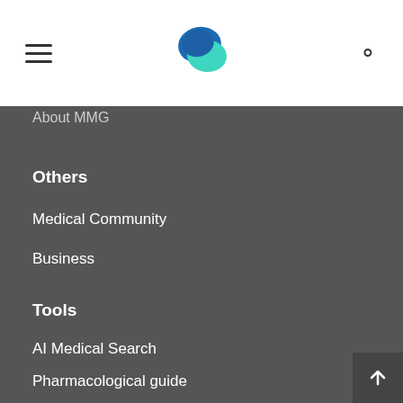[Figure (logo): MMG app logo with blue and teal speech bubble marks]
About MMG
Others
Medical Community
Business
Tools
AI Medical Search
Pharmacological guide
3D Anatomy